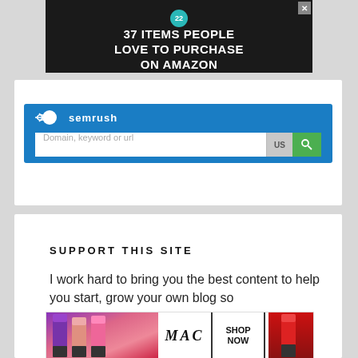[Figure (screenshot): Advertisement banner: dark background with food/kitchen items. Badge showing '22'. Text reads '37 ITEMS PEOPLE LOVE TO PURCHASE ON AMAZON'. X close button top right.]
[Figure (screenshot): SEMrush search widget. Blue banner with SEMrush logo (flame icon + semrush text). Search bar with placeholder 'Domain, keyword or url', US dropdown button, green search button.]
SUPPORT THIS SITE
I work hard to bring you the best content to help you start, grow your own blog so ca ca
[Figure (screenshot): MAC cosmetics advertisement with lipsticks in purple, pink, and red. Brand name 'MAC' in italic serif. 'SHOP NOW' button outlined. Red lipstick on right. 'CLOSE' button overlay.]